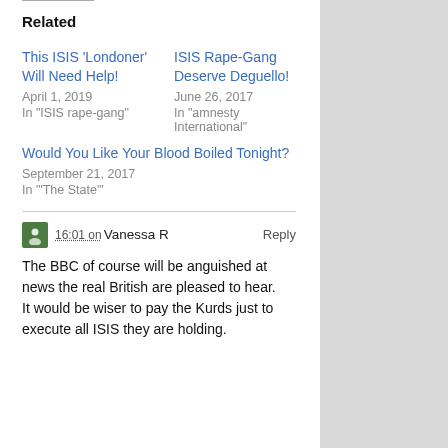Related
This ISIS ‘Londoner’ Will Need Help!
April 1, 2019
In "ISIS rape-gang"
ISIS Rape-Gang Deserve Deguello!
June 26, 2017
In "amnesty International"
Would You Like Your Blood Boiled Tonight?
September 21, 2017
In "'The State'"
16:01 on Vanessa R
Reply
The BBC of course will be anguished at news the real British are pleased to hear.
It would be wiser to pay the Kurds just to execute all ISIS they are holding.